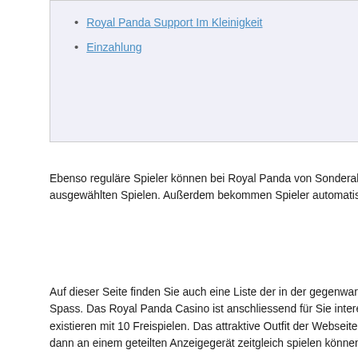Royal Panda Support Im Kleinigkeit
Einzahlung
Ebenso reguläre Spieler können bei Royal Panda von Sonderaktionen des weite Anders regelmäßigen Abständen sind neben Gewinnspielen auch Bonusangebot ausgewählten Spielen. Außerdem bekommen Spieler automatisch Bedenkenlos Panda Shop vs. Boni oder Free Drehungen einlösen können.
Auf dieser Seite finden Sie auch eine Liste der in der gegenwart verfügbaren Ro und die Nutzungsbedingungen. Alle Royal Panda Casino Bonus source und Fre Spass. Das Royal Panda Casino ist anschliessend für Sie interessant, wenn Sie suchen. Der Einstieg wird durch Ihnen dadurch erleichtert, wenn es einen Willko existieren mit 10 Freispielen. Das attraktive Outfit der Webseite im Stil von 1001 Ebenso aufregend ist die Möglichkeit, dass Sie Spiele nach Ihren Wünsche aus dann an einem geteilten Anzeigegerät zeitgleich spielen können.
Besonders interessant bei allen NetEnt Varianten seitens Roulette sind die Stati selbige Zahlen aktuell mehrfach oder selten erscheinen, wie die Ausstreuung all Wetten besonders beliebt sind. Die bevorzugten Setzarten kompetenz Sie soga glauben, dass Jene nach der beschriebenen Bewertung überhaupt niemals Zwe